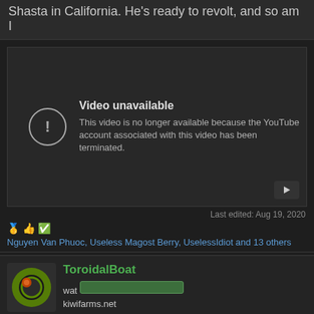Shasta in California. He's ready to revolt, and so am I
[Figure (screenshot): YouTube video unavailable embed showing 'Video unavailable - This video is no longer available because the YouTube account associated with this video has been terminated.']
Last edited: Aug 19, 2020
Nguyen Van Phuoc, Useless Magost Berry, UselessIdiot and 13 others
ToroidalBoat
wat kiwifarms.net